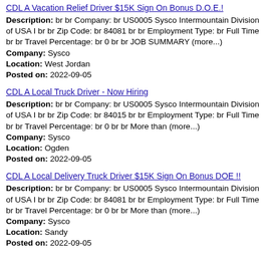CDL A Vacation Relief Driver $15K Sign On Bonus D.O.E.!
Description: br br Company: br US0005 Sysco Intermountain Division of USA I br br Zip Code: br 84081 br br Employment Type: br Full Time br br Travel Percentage: br 0 br br JOB SUMMARY (more...)
Company: Sysco
Location: West Jordan
Posted on: 2022-09-05
CDL A Local Truck Driver - Now Hiring
Description: br br Company: br US0005 Sysco Intermountain Division of USA I br br Zip Code: br 84015 br br Employment Type: br Full Time br br Travel Percentage: br 0 br br More than (more...)
Company: Sysco
Location: Ogden
Posted on: 2022-09-05
CDL A Local Delivery Truck Driver $15K Sign On Bonus DOE !!
Description: br br Company: br US0005 Sysco Intermountain Division of USA I br br Zip Code: br 84081 br br Employment Type: br Full Time br br Travel Percentage: br 0 br br More than (more...)
Company: Sysco
Location: Sandy
Posted on: 2022-09-05